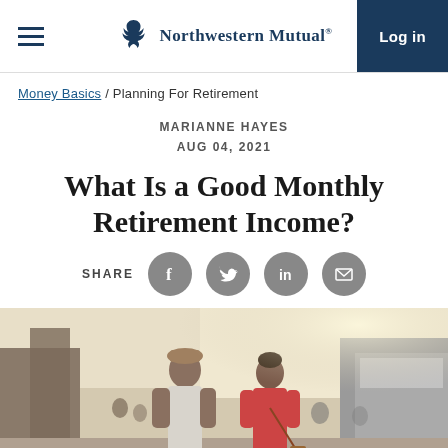Northwestern Mutual | Log in
Money Basics / Planning For Retirement
MARIANNE HAYES
AUG 04, 2021
What Is a Good Monthly Retirement Income?
[Figure (other): Share buttons: Facebook, Twitter, LinkedIn, Email]
[Figure (photo): A man and woman walking together outdoors near a harbor or market area]